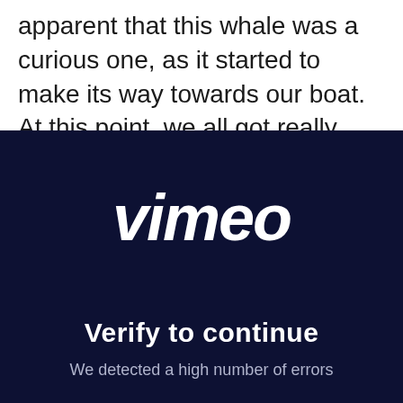apparent that this whale was a curious one, as it started to make its way towards our boat. At this point, we all got really excited and started filming with our GoPro and video camera.
[Figure (screenshot): Vimeo 'Verify to continue' screen — dark navy background with white Vimeo logo in rounded script font, bold white text 'Verify to continue', and partial grey text 'We detected a high number of errors']